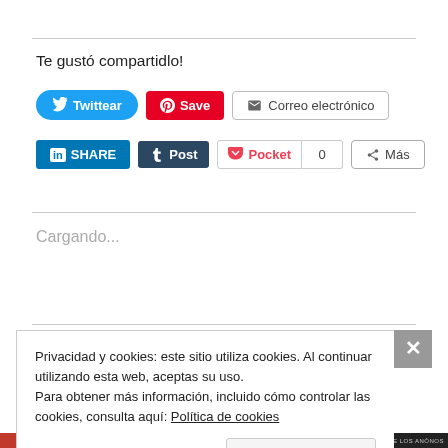Te gustó compartidlo!
[Figure (screenshot): Social sharing buttons row 1: Twittear (Twitter, blue), Save (Pinterest, red), Correo electrónico (email, grey border)]
[Figure (screenshot): Social sharing buttons row 2: SHARE (LinkedIn, blue), Post (Tumblr, dark blue), Pocket with count 0, Más (More, grey border)]
Cargando...
Privacidad y cookies: este sitio utiliza cookies. Al continuar utilizando esta web, aceptas su uso.
Para obtener más información, incluido cómo controlar las cookies, consulta aquí: Política de cookies
Cerrar y aceptar
INFÓRMA SOBRE LOS ANÓNOS